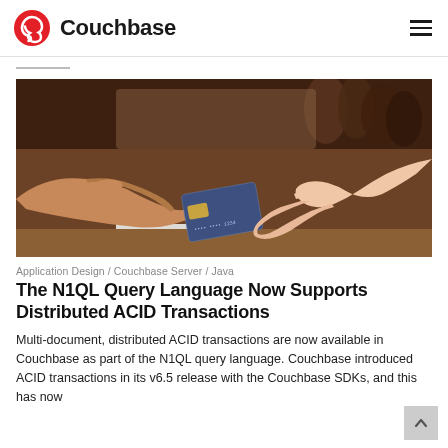Couchbase
[Figure (photo): Two hands exchanging a credit card over a retail counter with a receipt printer and blurred background.]
Application Design / Couchbase Server / Java
The N1QL Query Language Now Supports Distributed ACID Transactions
Multi-document, distributed ACID transactions are now available in Couchbase as part of the N1QL query language. Couchbase introduced ACID transactions in its v6.5 release with the Couchbase SDKs, and this has now